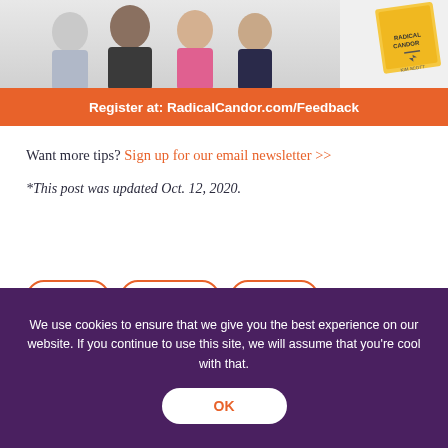[Figure (photo): Group of four people (three men and one woman) posing together, with a yellow book visible in the upper right corner]
Register at: RadicalCandor.com/Feedback
Want more tips? Sign up for our email newsletter >>
*This post was updated Oct. 12, 2020.
Article
Criticism
Culture
We use cookies to ensure that we give you the best experience on our website. If you continue to use this site, we will assume that you're cool with that.
OK